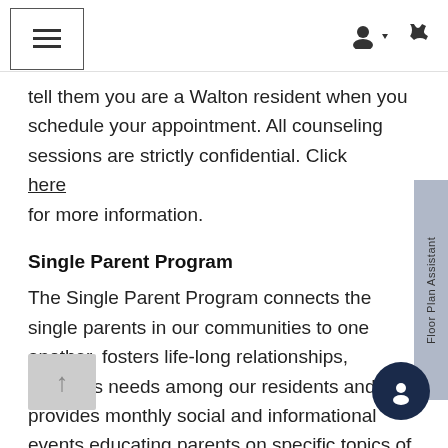Navigation header with menu, user, and phone icons
tell them you are a Walton resident when you schedule your appointment. All counseling sessions are strictly confidential. Click here for more information.
Single Parent Program
The Single Parent Program connects the single parents in our communities to one another, fosters life-long relationships, identifies needs among our residents and provides monthly social and informational events educating parents on specific topics of